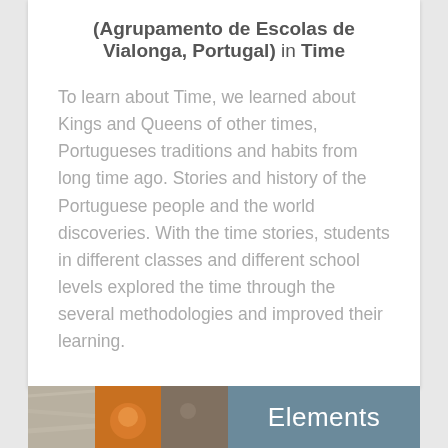(Agrupamento de Escolas de Vialonga, Portugal) in Time
To learn about Time, we learned about Kings and Queens of other times, Portugueses traditions and habits from long time ago. Stories and history of the Portuguese people and the world discoveries. With the time stories, students in different classes and different school levels explored the time through the several methodologies and improved their learning.
[Figure (photo): Bottom strip with photos on the left and an 'Elements' label on dark teal background on the right]